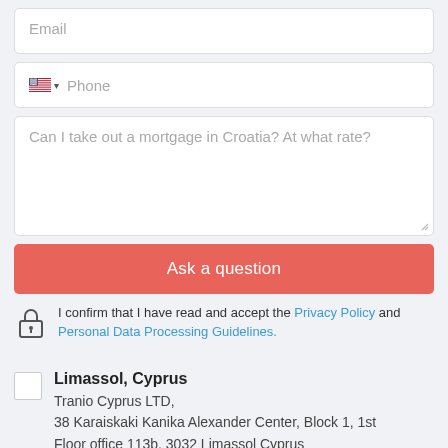Email
Phone
Can I take out a mortgage in Croatia? At what rate?
Ask a question
I confirm that I have read and accept the Privacy Policy and Personal Data Processing Guidelines.
Limassol, Cyprus
Tranio Cyprus LTD,
38 Karaiskaki Kanika Alexander Center, Block 1, 1st Floor office 113b, 3032 Limassol Cyprus